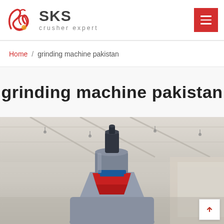SKS crusher expert — logo and navigation header
Home / grinding machine pakistan
grinding machine pakistan
[Figure (photo): Industrial grinding machine top view in a factory/warehouse setting, showing the machine top with a blue body, red trim piece, and black motor/nozzle at top, against a blurred industrial interior with structural ceiling beams.]